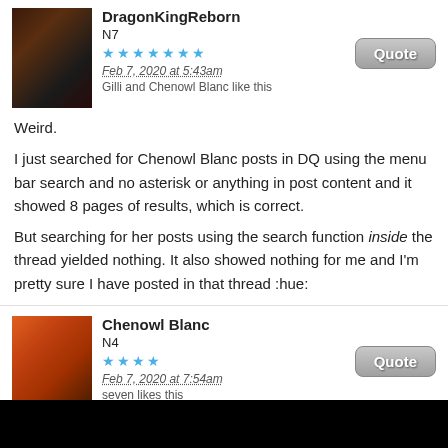DragonKingReborn
N7
Feb 7, 2020 at 5:43am
Gilli and Chenowl Blanc like this
Weird.
I just searched for Chenowl Blanc posts in DQ using the menu bar search and no asterisk or anything in post content and it showed 8 pages of results, which is correct.
But searching for her posts using the search function inside the thread yielded nothing. It also showed nothing for me and I'm pretty sure I have posted in that thread :hue:
Chenowl Blanc
N4
Feb 7, 2020 at 7:54am
seven likes this
DragonKingReborn said:
It also showed nothing for me and I'm pretty sure I have posted in that thread :hue: